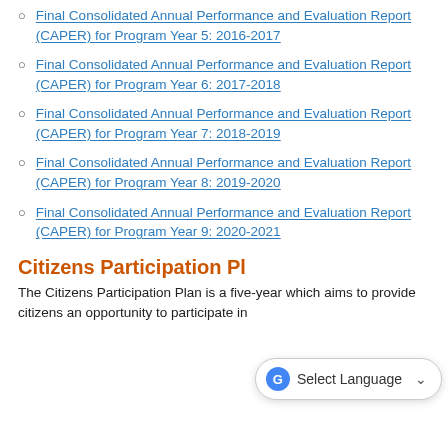Final Consolidated Annual Performance and Evaluation Report (CAPER) for Program Year 5: 2016-2017
Final Consolidated Annual Performance and Evaluation Report (CAPER) for Program Year 6: 2017-2018
Final Consolidated Annual Performance and Evaluation Report (CAPER) for Program Year 7: 2018-2019
Final Consolidated Annual Performance and Evaluation Report (CAPER) for Program Year 8: 2019-2020
Final Consolidated Annual Performance and Evaluation Report (CAPER) for Program Year 9: 2020-2021
Citizens Participation Pl
The Citizens Participation Plan is a five-year which aims to provide citizens an opportunity to participate in